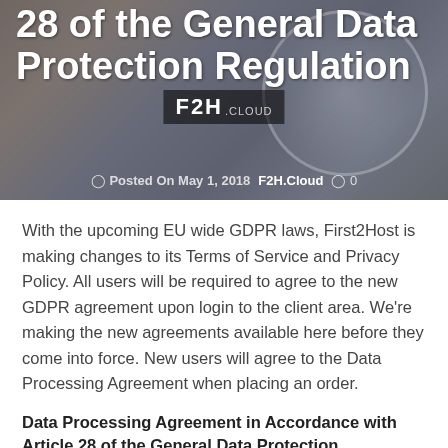[Figure (photo): Hero banner image with blurred background showing tech hardware, overlaid with white bold title text '28 of the General Data Protection Regulation' and F2H.Cloud logo, plus metadata line 'Posted On May 1, 2018  F2H.Cloud  0']
With the upcoming EU wide GDPR laws, First2Host is making changes to its Terms of Service and Privacy Policy. All users will be required to agree to the new GDPR agreement upon login to the client area. We're making the new agreements available here before they come into force. New users will agree to the Data Processing Agreement when placing an order.
Data Processing Agreement in Accordance with Article 28 of the General Data Protection Regulation
between